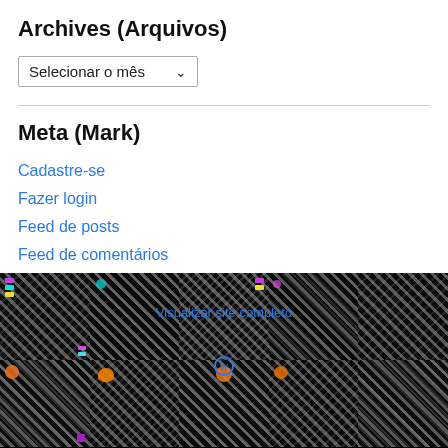Archives (Arquivos)
Selecionar o mês
Meta (Mark)
Cadastre-se
Fazer login
Feed de posts
Feed de comentários
WordPress.com
[Figure (photo): Two rows of tiled colorful robot/character artwork images on a black background, with 'Visualizar site completo' link and WordPress icon overlay.]